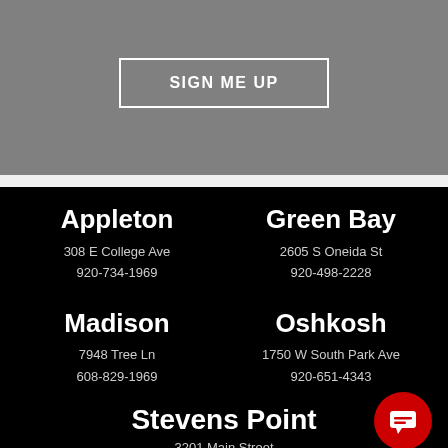SIGN ME UP
Appleton
308 E College Ave
920-734-1969
Green Bay
2605 S Oneida St
920-498-2228
Madison
7948 Tree Ln
608-829-1969
Oshkosh
1750 W South Park Ave
920-651-4343
Stevens Point
3201 Main Street